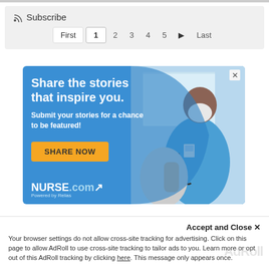Subscribe
First 1 2 3 4 5 ▶ Last
[Figure (photo): Advertisement banner for NURSE.com showing a nurse in blue scrubs and face mask using a stethoscope on a patient, with text 'Share the stories that inspire you. Submit your stories for a chance to be featured!' and a yellow 'SHARE NOW' button. Branding: NURSE.com Powered by Relias.]
Accept and Close ✕
Your browser settings do not allow cross-site tracking for advertising. Click on this page to allow AdRoll to use cross-site tracking to tailor ads to you. Learn more or opt out of this AdRoll tracking by clicking here. This message only appears once.